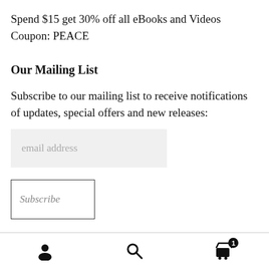Spend $15 get 30% off all eBooks and Videos
Coupon: PEACE
Our Mailing List
Subscribe to our mailing list to receive notifications of updates, special offers and new releases:
[Figure (screenshot): Email address input field with light gray background and placeholder text 'email address']
[Figure (screenshot): Subscribe button with border, italic text reading 'Subscribe']
Navigation bar with user icon, search icon, and cart icon with badge showing 1